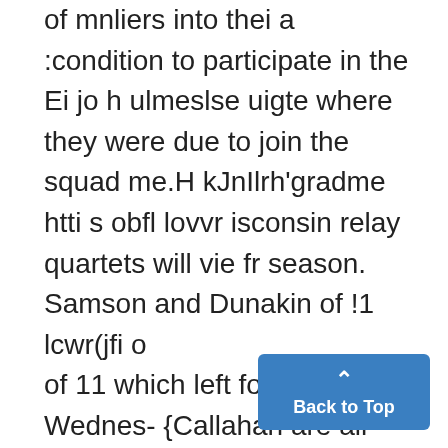of mnliers into thei a :condition to participate in the Ei jo h ulmeslse uigte where they were due to join the squad me.H kJnIlrh'gradme htti s obfl lovvr isconsin relay quartets will vie fr season. Samson and Dunakin of !1 lcwr(jfi o of 11 which left for the meet Wednes- {Callahan are all dependable and they most of them will be in a condition to! ,hon ourst1ardtevbentwhtchaneMihgnDuidngof WNsortsen , 4O G 3ar lw day,~ ~ ~ ~ ~ ~~a this morningn o wopacs make the trip for the Michigan meetlupefustnighebtcace